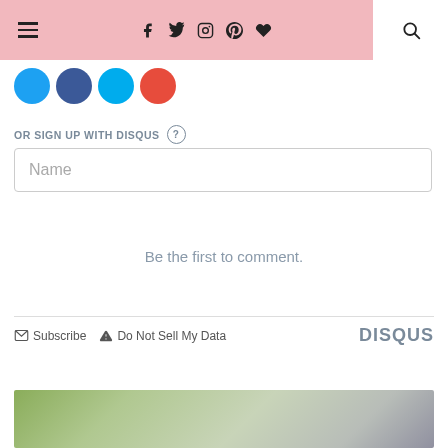Navigation header with hamburger menu, social icons (f, twitter, instagram, pinterest, heart), and search icon
[Figure (other): Four social media circular icon buttons: blue Twitter, dark blue Facebook, light blue Twitter/Tumblr, red Pinterest/Google+]
OR SIGN UP WITH DISQUS (?)
Name
Be the first to comment.
Subscribe  Do Not Sell My Data  DISQUS
[Figure (photo): Partial outdoor scene with greenery and buildings at the bottom of the page]